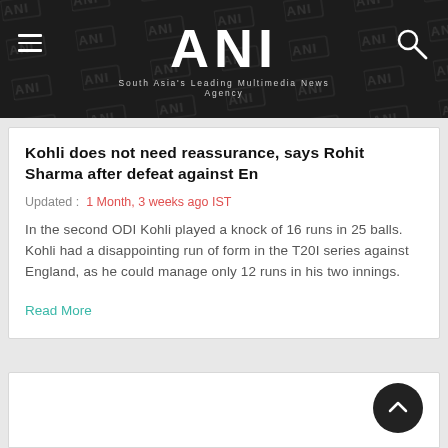ANI — South Asia's Leading Multimedia News Agency
Kohli does not need reassurance, says Rohit Sharma after defeat against En
Updated : 1 Month, 3 weeks ago IST
In the second ODI Kohli played a knock of 16 runs in 25 balls. Kohli had a disappointing run of form in the T20I series against England, as he could manage only 12 runs in his two innings.
Read More